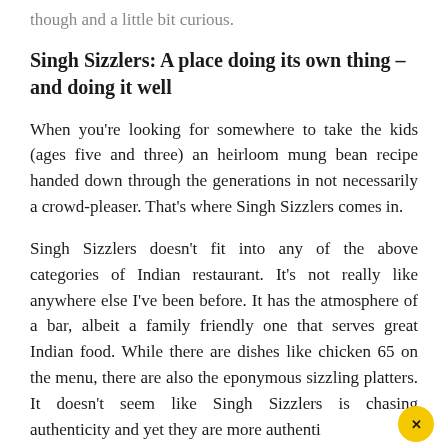though and a little bit curious.
Singh Sizzlers: A place doing its own thing – and doing it well
When you're looking for somewhere to take the kids (ages five and three) an heirloom mung bean recipe handed down through the generations in not necessarily a crowd-pleaser. That's where Singh Sizzlers comes in.
Singh Sizzlers doesn't fit into any of the above categories of Indian restaurant. It's not really like anywhere else I've been before. It has the atmosphere of a bar, albeit a family friendly one that serves great Indian food. While there are dishes like chicken 65 on the menu, there are also the eponymous sizzling platters. It doesn't seem like Singh Sizzlers is chasing authenticity and yet they are more authenti